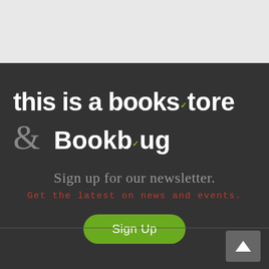[Figure (logo): Top grey bar area, website header screenshot background]
this is a bookstore & Bookbug
Sign up for our newsletter.
Get the latest on news and events.
Sign Up